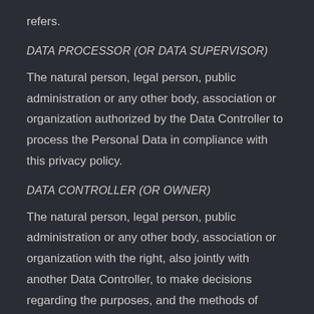refers.
DATA PROCESSOR (OR DATA SUPERVISOR)
The natural person, legal person, public administration or any other body, association or organization authorized by the Data Controller to process the Personal Data in compliance with this privacy policy.
DATA CONTROLLER (OR OWNER)
The natural person, legal person, public administration or any other body, association or organization with the right, also jointly with another Data Controller, to make decisions regarding the purposes, and the methods of processing of Personal Data and the means used, including the security measures concerning the